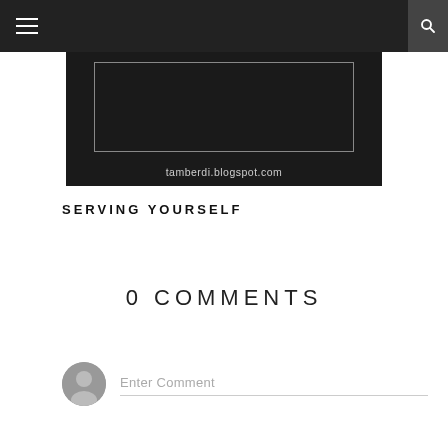Navigation bar with hamburger menu and search icon
[Figure (screenshot): Blog screenshot thumbnail showing tamberdi.blogspot.com with dark background and border frame]
SERVING YOURSELF
0 COMMENTS
Enter Comment